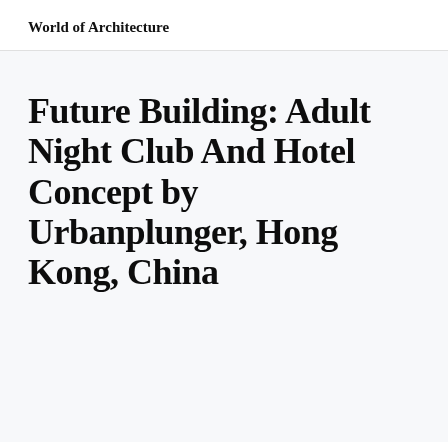World of Architecture
Future Building: Adult Night Club And Hotel Concept by Urbanplunger, Hong Kong, China